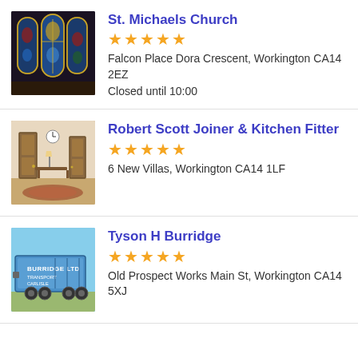[Figure (photo): Stained glass church windows with blue and red religious imagery]
St. Michaels Church
★★★★★
Falcon Place Dora Crescent, Workington CA14 2EZ
Closed until 10:00
[Figure (photo): Interior hallway with wooden doors and patterned rug]
Robert Scott Joiner & Kitchen Fitter
★★★★★
6 New Villas, Workington CA14 1LF
[Figure (photo): Blue Burridge Ltd transport lorry/trailer]
Tyson H Burridge
★★★★★
Old Prospect Works Main St, Workington CA14 5XJ